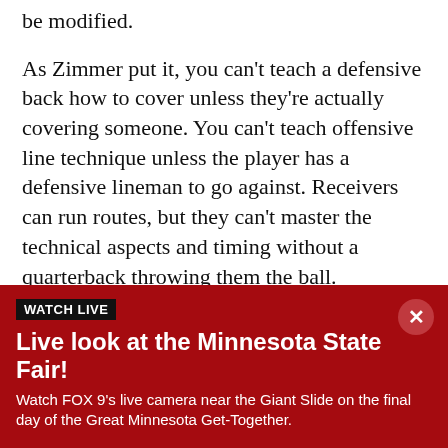be modified.
As Zimmer put it, you can’t teach a defensive back how to cover unless they’re actually covering someone. You can’t teach offensive line technique unless the player has a defensive lineman to go against. Receivers can run routes, but they can’t master the technical aspects and timing without a quarterback throwing them the ball.
“That will be the biggest factor, because you can’t just roll the ball out and play. You can’t just say here’s your playbook, now you go out and play. It doesn’t work like that.” Zimmer said. “The players need to be developed…
[Figure (infographic): Watch Live banner with dark red background. Badge reading WATCH LIVE in white on black. Headline: Live look at the Minnesota State Fair! Description: Watch FOX 9’s live camera near the Giant Slide on the final day of the Great Minnesota Get-Together. Close button (X) in upper right.]